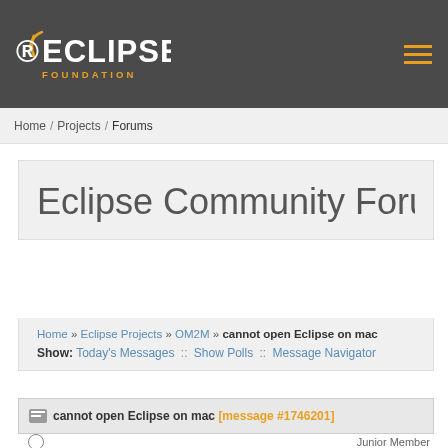Eclipse Foundation
Home / Projects / Forums
Eclipse Community Forum
Home » Eclipse Projects » OM2M » cannot open Eclipse on mac
Show: Today's Messages :: Show Polls :: Message Navigator
cannot open Eclipse on mac [message #1746201]
Junior Member